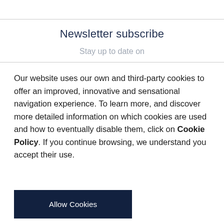Newsletter subscribe
Stay up to date on
Our website uses our own and third-party cookies to offer an improved, innovative and sensational navigation experience. To learn more, and discover more detailed information on which cookies are used and how to eventually disable them, click on Cookie Policy. If you continue browsing, we understand you accept their use.
Allow Cookies